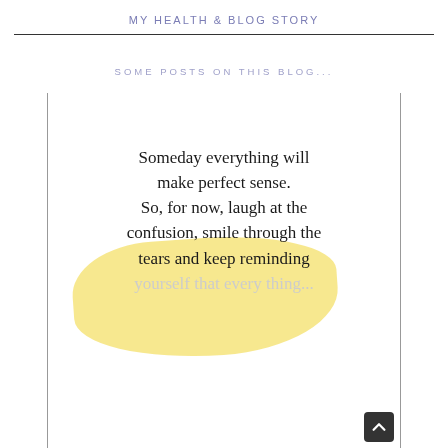MY HEALTH & BLOG STORY
SOME POSTS ON THIS BLOG...
[Figure (illustration): Inspirational quote image with handwritten-style text on white background with yellow watercolor highlight: 'Someday everything will make perfect sense. So, for now, laugh at the confusion, smile through the tears and keep reminding yourself that every thing...']